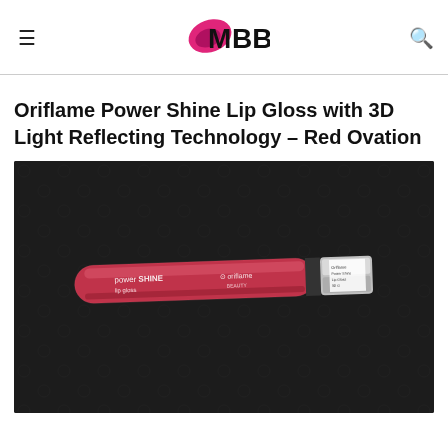IMBB
Oriflame Power Shine Lip Gloss with 3D Light Reflecting Technology – Red Ovation
[Figure (photo): Photo of Oriflame Power Shine lip gloss tube in red/pink color with silver cap, placed on a dark leather surface. The tube shows 'power SHINE lip gloss' text and Oriflame Beauty branding.]